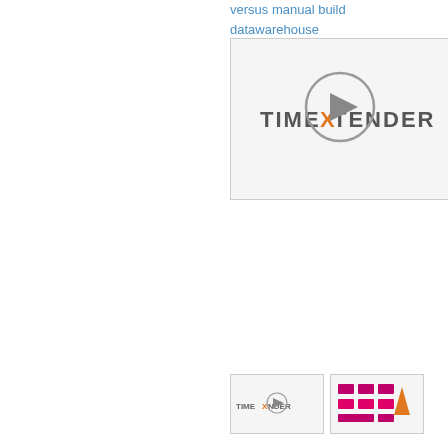versus manual build datawarehouse
[Figure (screenshot): TimeXtender logo with a play button overlay on a video thumbnail]
[Figure (screenshot): Small TimeXtender logo video thumbnail]
[Figure (screenshot): Small screenshot thumbnail showing a diagram with pink/magenta elements and an orange triangle logo]